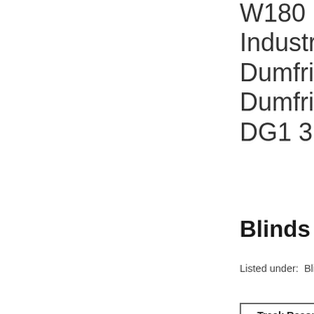W180 Hurrica
Industrial Est
Dumfries
Dumfries and
DG1 3PH
Blinds - Supp
Listed under:  Blinds
Track Record  M
We welco
will reply